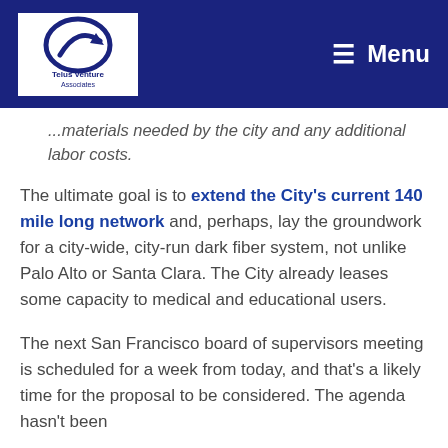Telus Venture Associates — Menu
...materials needed by the city and any additional labor costs.
The ultimate goal is to extend the City's current 140 mile long network and, perhaps, lay the groundwork for a city-wide, city-run dark fiber system, not unlike Palo Alto or Santa Clara. The City already leases some capacity to medical and educational users.
The next San Francisco board of supervisors meeting is scheduled for a week from today, and that's a likely time for the proposal to be considered. The agenda hasn't been